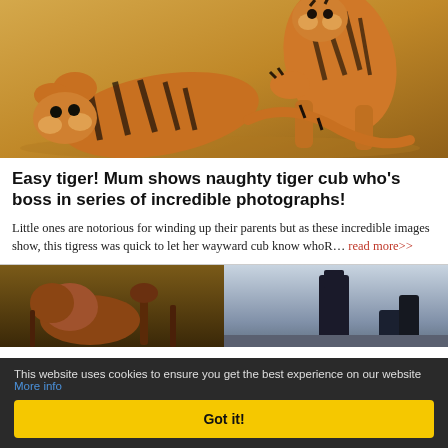[Figure (photo): Two tiger cubs playing/wrestling on sandy ground, one lying on its back and one standing over it]
Easy tiger! Mum shows naughty tiger cub who's boss in series of incredible photographs!
Little ones are notorious for winding up their parents but as these incredible images show, this tigress was quick to let her wayward cub know whoR... read more>>
[Figure (photo): Two photos side by side - left shows a brown animal (possibly bear or lion) in dark surroundings, right shows a tall dark structure against a grey sky]
This website uses cookies to ensure you get the best experience on our website More info
Got it!